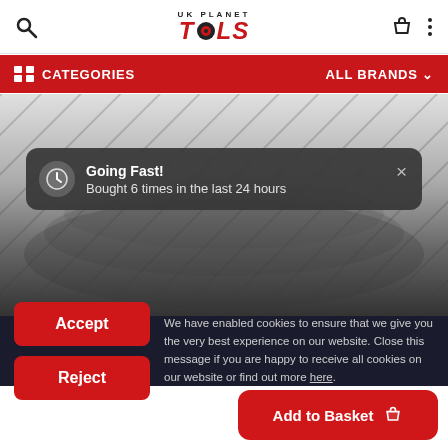[Figure (screenshot): UK Planet Tools website header with search icon, logo, basket icon, and menu dots]
CATEGORIES   ALL BRANDS ▾
[Figure (photo): Product image of dark abrasive/sandpaper material with diagonal stripe pattern]
Going Fast! Bought 6 times in the last 24 hours
We have enabled cookies to ensure that we give you the very best experience on our website. Close this message if you are happy to receive all cookies on our website or find out more here.
Accept
Reject
Add to Basket